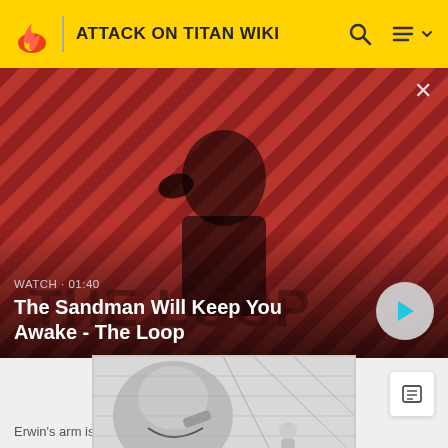ATTACK ON TITAN WIKI
[Figure (screenshot): Video thumbnail banner: man in black with a crow on his shoulder against a red and black diagonal striped background. Text overlay: WATCH · 01:40, The Sandman Will Keep You Awake - The Loop. Play button on right.]
[Figure (illustration): Black and white manga illustration of Erwin's arm being bitten by a Titan]
Erwin's arm is bitten by a Titan